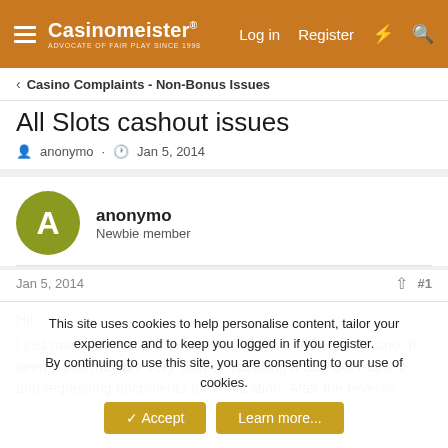Casinomeister® ADVOCATE OF FAIR PLAY SINCE 1998 | Log in | Register
Casino Complaints - Non-Bonus Issues
All Slots cashout issues
anonymo · Jan 5, 2014
anonymo
Newbie member
Jan 5, 2014  #1
Hi!
I just made my first withdrawal request from All Slots Casino. It seems that they are very slow on handling a cashout request and requesting documents for verification. After the reverse
This site uses cookies to help personalise content, tailor your experience and to keep you logged in if you register.
By continuing to use this site, you are consenting to our use of cookies.